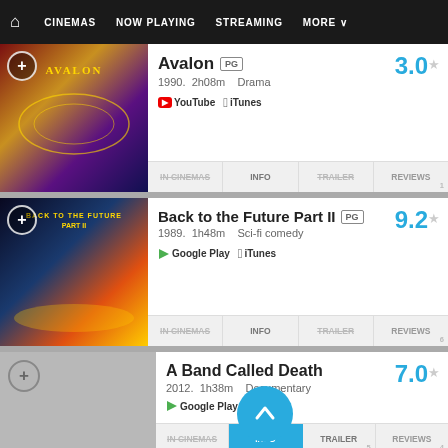🏠  CINEMAS  NOW PLAYING  STREAMING  MORE
Avalon PG
1990. 2h08m  Drama
YouTube  iTunes
Rating: 3.0
Back to the Future Part II PG
1989. 1h48m  Sci-fi comedy
Google Play  iTunes
Rating: 9.2
A Band Called Death
2012. 1h38m  Documentary
Google Play
Rating: 7.0